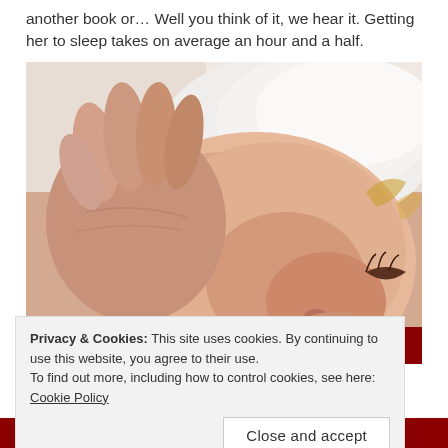another book or… Well you think of it, we hear it. Getting her to sleep takes on average an hour and a half.
[Figure (photo): Close-up photo of a sleeping baby's face wearing a white hat, with a hand visible near the face and red patterned clothing visible at the bottom]
Privacy & Cookies: This site uses cookies. By continuing to use this website, you agree to their use.
To find out more, including how to control cookies, see here: Cookie Policy
Close and accept